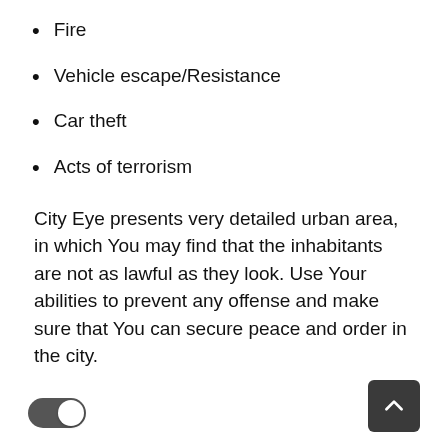Fire
Vehicle escape/Resistance
Car theft
Acts of terrorism
City Eye presents very detailed urban area, in which You may find that the inhabitants are not as lawful as they look. Use Your abilities to prevent any offense and make sure that You can secure peace and order in the city.